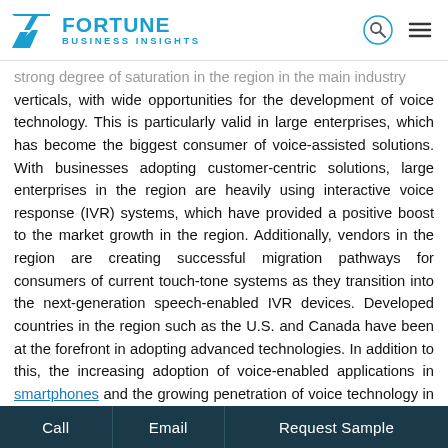FORTUNE BUSINESS INSIGHTS
strong degree of saturation in the region in the main industry verticals, with wide opportunities for the development of voice technology. This is particularly valid in large enterprises, which has become the biggest consumer of voice-assisted solutions. With businesses adopting customer-centric solutions, large enterprises in the region are heavily using interactive voice response (IVR) systems, which have provided a positive boost to the market growth in the region. Additionally, vendors in the region are creating successful migration pathways for consumers of current touch-tone systems as they transition into the next-generation speech-enabled IVR devices. Developed countries in the region such as the U.S. and Canada have been at the forefront in adopting advanced technologies. In addition to this, the increasing adoption of voice-enabled applications in smartphones and the growing penetration of voice technology in the banking and electronics sector are expected to bolster the market
Call   Email   Request Sample